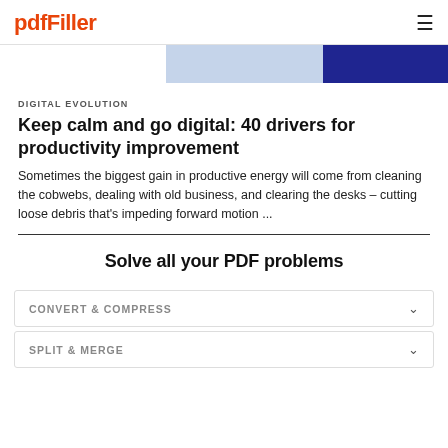pdfFiller
[Figure (illustration): Decorative banner with light blue and dark navy blue diagonal shapes on the right side]
DIGITAL EVOLUTION
Keep calm and go digital: 40 drivers for productivity improvement
Sometimes the biggest gain in productive energy will come from cleaning the cobwebs, dealing with old business, and clearing the desks – cutting loose debris that's impeding forward motion ...
Solve all your PDF problems
CONVERT & COMPRESS
SPLIT & MERGE